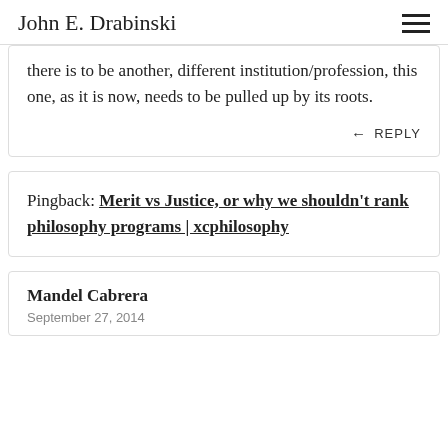John E. Drabinski
there is to be another, different institution/profession, this one, as it is now, needs to be pulled up by its roots.
← REPLY
Pingback: Merit vs Justice, or why we shouldn't rank philosophy programs | xcphilosophy
Mandel Cabrera
September 27, 2014